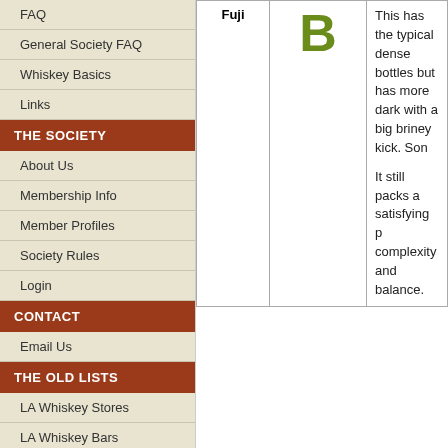FAQ
General Society FAQ
Whiskey Basics
Links
THE SOCIETY
About Us
Membership Info
Member Profiles
Society Rules
Login
CONTACT
Email Us
THE OLD LISTS
LA Whiskey Stores
LA Whiskey Bars
Online Whiskey Stores
RECENT TALKBACK
| Name | Grade | Description |
| --- | --- | --- |
| Fuji | B | This has the typical dense bottles but has more dark with a big briney kick. Son

It still packs a satisfying p complexity and balance. |